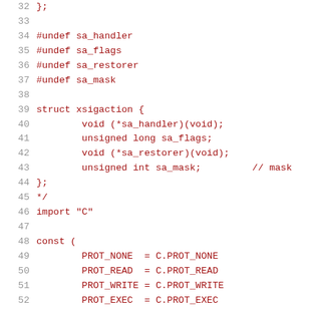32  };
33
34  #undef sa_handler
35  #undef sa_flags
36  #undef sa_restorer
37  #undef sa_mask
38
39  struct xsigaction {
40        void (*sa_handler)(void);
41        unsigned long sa_flags;
42        void (*sa_restorer)(void);
43        unsigned int sa_mask;         // mask
44  };
45  */
46  import "C"
47
48  const (
49        PROT_NONE  = C.PROT_NONE
50        PROT_READ  = C.PROT_READ
51        PROT_WRITE = C.PROT_WRITE
52        PROT_EXEC  = C.PROT_EXEC